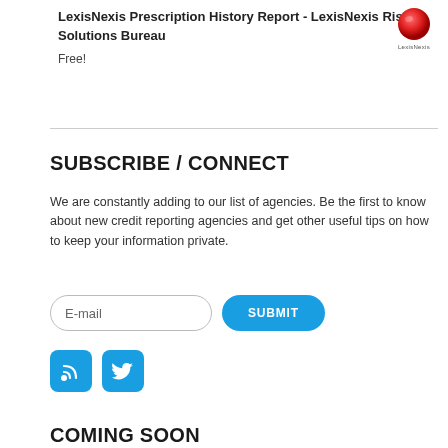LexisNexis Prescription History Report - LexisNexis Risk Solutions Bureau
Free!
[Figure (logo): LexisNexis logo: red sphere with LexisNexis wordmark below]
SUBSCRIBE / CONNECT
We are constantly adding to our list of agencies. Be the first to know about new credit reporting agencies and get other useful tips on how to keep your information private.
[Figure (other): E-mail input field and SUBMIT button]
[Figure (other): RSS feed icon and Twitter bird icon, both in blue rounded square boxes]
COMING SOON